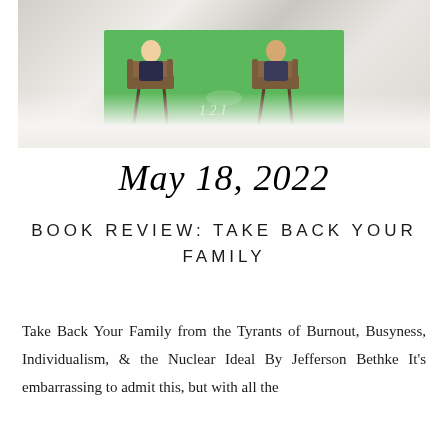[Figure (photo): Photo of a book cover or scene with a green background showing figures seated at chairs, displayed on a white marble surface]
May 18, 2022
BOOK REVIEW: TAKE BACK YOUR FAMILY
Take Back Your Family from the Tyrants of Burnout, Busyness, Individualism, & the Nuclear Ideal By Jefferson Bethke It's embarrassing to admit this, but with all the